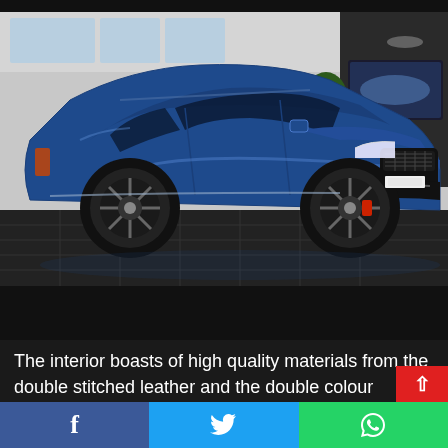[Figure (photo): A blue Jaguar F-Pace SUV photographed indoors in a showroom/dealership setting. The car is parked on dark tile flooring with a modern interior space visible in the background.]
The interior boasts of high quality materials from the double stitched leather and the double colour steering wheel that g